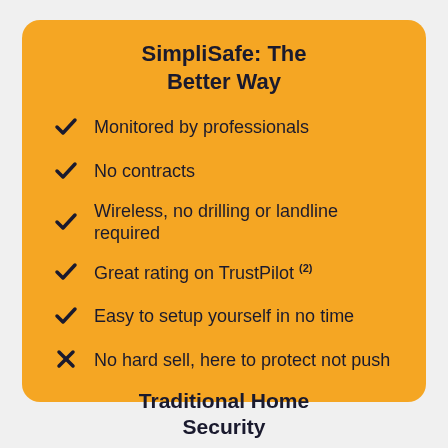SimpliSafe: The Better Way
Monitored by professionals
No contracts
Wireless, no drilling or landline required
Great rating on TrustPilot (2)
Easy to setup yourself in no time
No hard sell, here to protect not push
Traditional Home Security